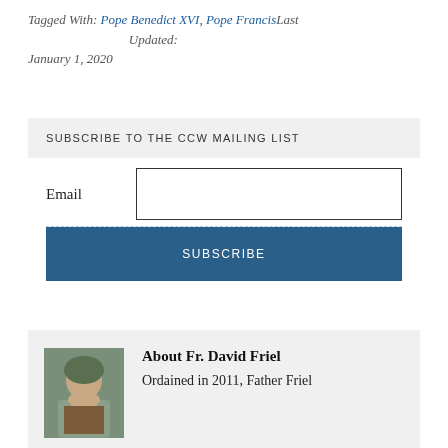Tagged With: Pope Benedict XVI, Pope FrancisLast Updated: January 1, 2020
SUBSCRIBE TO THE CCW MAILING LIST
Email
SUBSCRIBE
About Fr. David Friel
Ordained in 2011, Father Friel